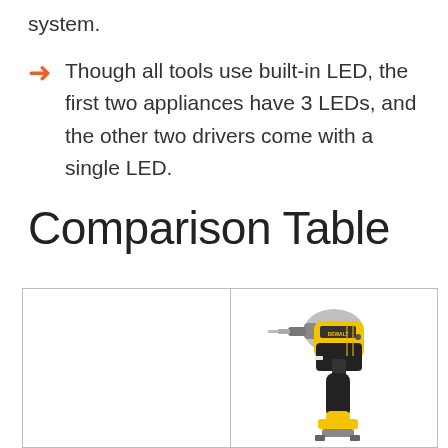system.
Though all tools use built-in LED, the first two appliances have 3 LEDs, and the other two drivers come with a single LED.
Comparison Table
[Figure (photo): Comparison table with two columns. Left column is empty. Right column shows a yellow and black DeWalt impact driver/drill tool.]